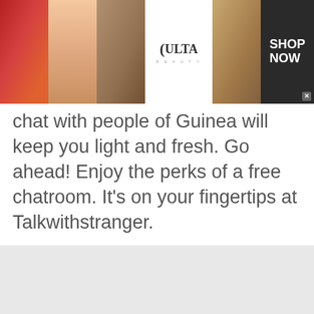[Figure (photo): Top advertisement banner for ULTA Beauty showing makeup imagery (lips, brush, eyes) with ULTA logo and SHOP NOW call to action]
chat with people of Guinea will keep you light and fresh. Go ahead! Enjoy the perks of a free chatroom. It's on your fingertips at Talkwithstranger.
[Figure (screenshot): Scroll-to-top button (cyan/teal upward chevron arrow)]
[Figure (photo): Bottom advertisement row: left ad shows SUV car with 'Discover New and Used Car Deals Near You' (Ad by Car Deals Near You); right ad shows celebrity man with '10 Celebrity Fathers Who Raised Their Kids All by Themselves' (Ad by Quizz)]